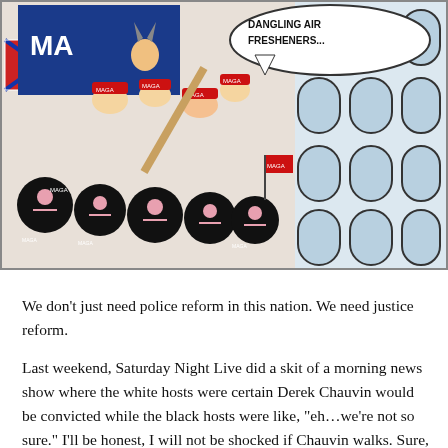[Figure (illustration): Political cartoon showing a crowd of figures wearing MAGA hats and carrying flags including a Confederate flag, with speech bubble reading 'DANGLING AIR FRESHENERS...' Above is a chaotic scene with bats, horned figures, and dark round creatures with smiley faces. Right side shows arched doorways of what appears to be a government building.]
We don't just need police reform in this nation. We need justice reform.
Last weekend, Saturday Night Live did a skit of a morning news show where the white hosts were certain Derek Chauvin would be convicted while the black hosts were like, "eh…we're not so sure." I'll be honest, I will not be shocked if Chauvin walks. Sure, his defense has been ridiculous, but have you met white America? The jury is